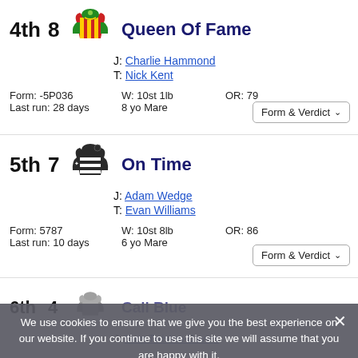4th 8 Queen Of Fame J: Charlie Hammond T: Nick Kent Form: -5P036 Last run: 28 days W: 10st 1lb 8 yo Mare OR: 79 Form & Verdict
5th 7 On Time J: Adam Wedge T: Evan Williams Form: 5787 Last run: 10 days W: 10st 8lb 6 yo Mare OR: 86 Form & Verdict
6th 4 Call Blue J: Sam Twiston-Davies T: Nigel Twiston-Davies Form: 79647 W: 11st 5lb OR: 97
We use cookies to ensure that we give you the best experience on our website. If you continue to use this site we will assume that you are happy with it.